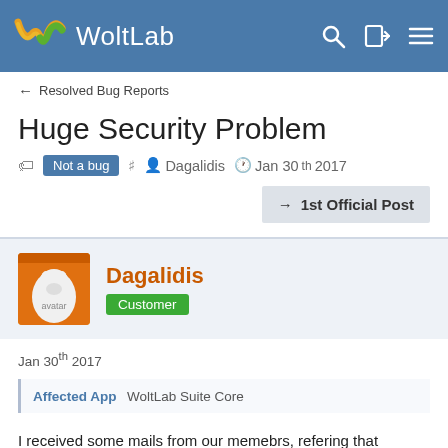WoltLab
← Resolved Bug Reports
Huge Security Problem
Not a bug  Dagalidis  Jan 30th 2017
→ 1st Official Post
Dagalidis
Customer
Jan 30th 2017
Affected App  WoltLab Suite Core
I received some mails from our memebrs, refering that randomly they was able to connect in our forums on an